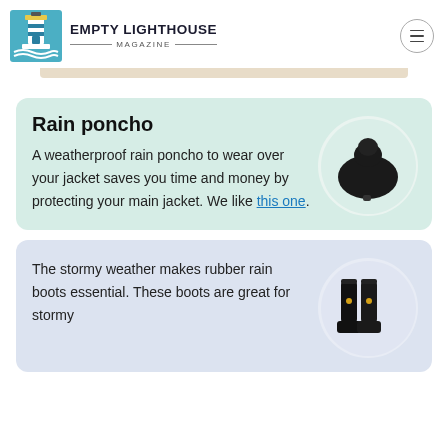EMPTY LIGHTHOUSE MAGAZINE
Rain poncho
A weatherproof rain poncho to wear over your jacket saves you time and money by protecting your main jacket. We like this one.
[Figure (photo): Black rain poncho product photo on a white circular background]
The stormy weather makes rubber rain boots essential. These boots are great for stormy
[Figure (photo): Black rubber rain boots product photo on a light circular background]